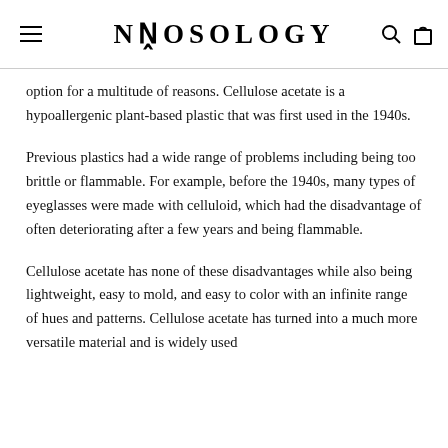NEOSOLOGY
option for a multitude of reasons. Cellulose acetate is a hypoallergenic plant-based plastic that was first used in the 1940s.
Previous plastics had a wide range of problems including being too brittle or flammable. For example, before the 1940s, many types of eyeglasses were made with celluloid, which had the disadvantage of often deteriorating after a few years and being flammable.
Cellulose acetate has none of these disadvantages while also being lightweight, easy to mold, and easy to color with an infinite range of hues and patterns. Cellulose acetate has turned into a much more versatile material and is widely used